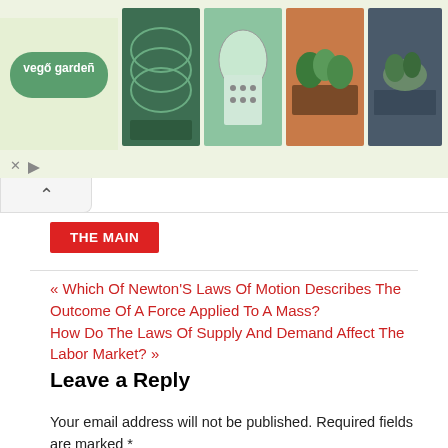[Figure (infographic): Vego Garden advertisement banner with logo and product images showing raised garden beds and planters]
THE MAIN
« Which Of Newton'S Laws Of Motion Describes The Outcome Of A Force Applied To A Mass?
How Do The Laws Of Supply And Demand Affect The Labor Market? »
Leave a Reply
Your email address will not be published. Required fields are marked *